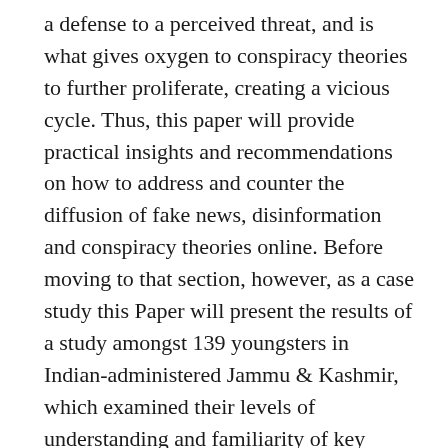a defense to a perceived threat, and is what gives oxygen to conspiracy theories to further proliferate, creating a vicious cycle. Thus, this paper will provide practical insights and recommendations on how to address and counter the diffusion of fake news, disinformation and conspiracy theories online. Before moving to that section, however, as a case study this Paper will present the results of a study amongst 139 youngsters in Indian-administered Jammu & Kashmir, which examined their levels of understanding and familiarity of key terminology regarding hate speech and violent extremism, and their levels of critical thinking towards